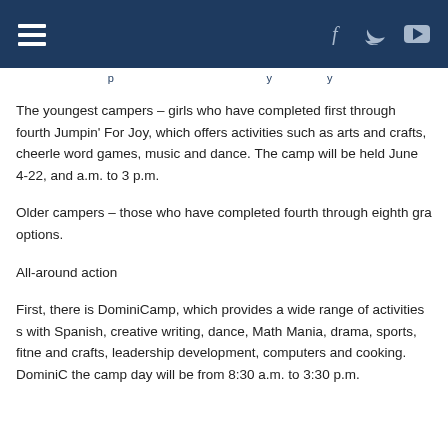Navigation bar with hamburger menu and social icons (Facebook, Twitter, YouTube)
The youngest campers – girls who have completed first through fourth Jumpin' For Joy, which offers activities such as arts and crafts, cheerle word games, music and dance. The camp will be held June 4-22, and a.m. to 3 p.m.
Older campers – those who have completed fourth through eighth gra options.
All-around action
First, there is DominiCamp, which provides a wide range of activities s with Spanish, creative writing, dance, Math Mania, drama, sports, fitne and crafts, leadership development, computers and cooking. DominiC the camp day will be from 8:30 a.m. to 3:30 p.m.